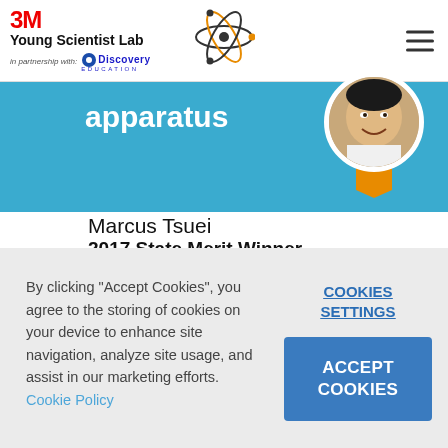[Figure (logo): 3M Young Scientist Lab logo with atom graphic and Discovery Education partnership text]
[Figure (screenshot): Blue banner with white bold text 'apparatus' and circular profile photo of Marcus Tsuei with orange ribbon badge]
Marcus Tsuei
2017 State Merit Winner
By clicking "Accept Cookies", you agree to the storing of cookies on your device to enhance site navigation, analyze site usage, and assist in our marketing efforts. Cookie Policy
COOKIES SETTINGS
ACCEPT COOKIES